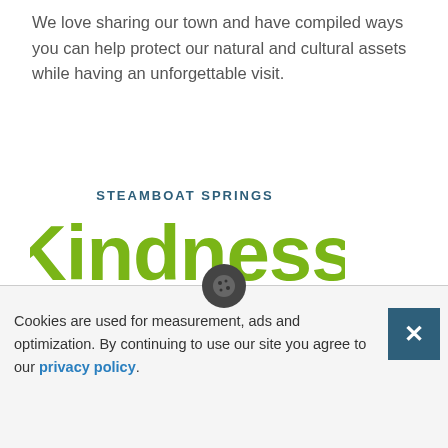We love sharing our town and have compiled ways you can help protect our natural and cultural assets while having an unforgettable visit.
[Figure (logo): Steamboat Springs Kindness Floats The Boat logo. Large green text 'Kindness' with 'STEAMBOAT SPRINGS' above in dark blue, 'FLOATS THE BOAT' below in dark blue, and green wave/swoosh lines underneath.]
The Steamboat Springs Code of Kindness shares ways to better appreciate the land and each other. We encourage
Cookies are used for measurement, ads and optimization. By continuing to use our site you agree to our privacy policy.